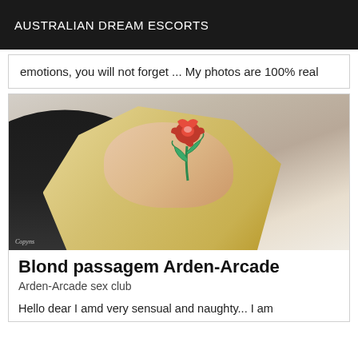AUSTRALIAN DREAM ESCORTS
emotions, you will not forget ... My photos are 100% real
[Figure (photo): Photo of a blonde woman reclining, with a drawn red rose covering her face/eyes as an anonymizing overlay. She is wearing a black top. The background appears to be a tufted headboard. A watermark appears in the bottom-left corner.]
Blond passagem Arden-Arcade
Arden-Arcade sex club
Hello dear I amd very sensual and naughty... I am